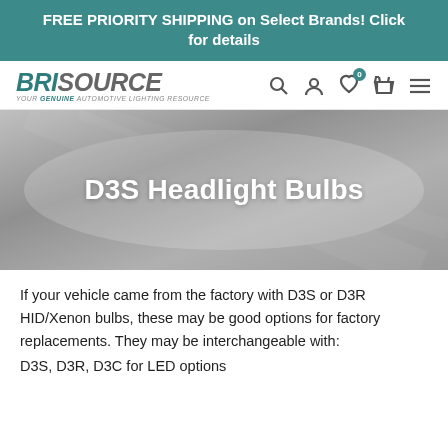FREE PRIORITY SHIPPING on Select Brands! Click for details
[Figure (logo): BriSource logo with tagline: YOUR GENUINE AUTOMOTIVE LIGHTING RESOURCE]
D3S Headlight Bulbs
If your vehicle came from the factory with D3S or D3R HID/Xenon bulbs, these may be good options for factory replacements. They may be interchangeable with:
D3S, D3R, D3C for LED options